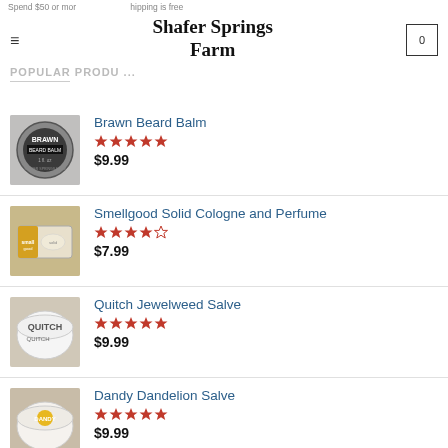Shafer Springs Farm
POPULAR PRODUCTS
[Figure (photo): Product image of Brawn Beard Balm tin]
Brawn Beard Balm
★★★★★
$9.99
[Figure (photo): Product image of Smellgood Solid Cologne and Perfume]
Smellgood Solid Cologne and Perfume
★★★★☆
$7.99
[Figure (photo): Product image of Quitch Jewelweed Salve]
Quitch Jewelweed Salve
★★★★★
$9.99
[Figure (photo): Product image of Dandy Dandelion Salve]
Dandy Dandelion Salve
★★★★★
$9.99